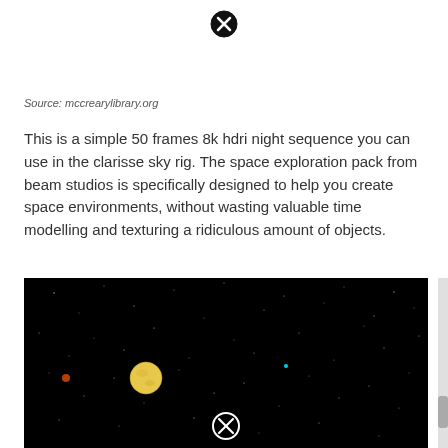[Figure (other): Close/dismiss button (X in circle) at top center of page]
Source: mccrearylibrary.org
This is a simple 50 frames 8k hdri night sequence you can use in the clarisse sky rig. The space exploration pack from beam studios is specifically designed to help you create space environments, without wasting valuable time modelling and texturing a ridiculous amount of objects.
[Figure (photo): A dark space scene with a black background, stars scattered throughout, a yellow/gold planet or star in the center-left area, a small red dot to the far left, and a small cyan dot in the center-right area. A close/dismiss button appears at the bottom center of the image.]